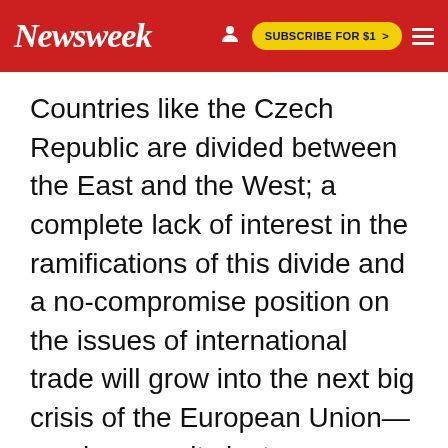Newsweek  SUBSCRIBE FOR $1 >
Countries like the Czech Republic are divided between the East and the West; a complete lack of interest in the ramifications of this divide and a no-compromise position on the issues of international trade will grow into the next big crisis of the European Union—maybe even its last.